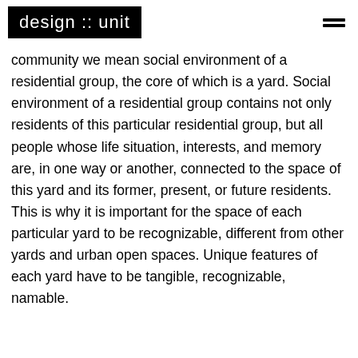design :: unit
community we mean social environment of a residential group, the core of which is a yard. Social environment of a residential group contains not only residents of this particular residential group, but all people whose life situation, interests, and memory are, in one way or another, connected to the space of this yard and its former, present, or future residents. This is why it is important for the space of each particular yard to be recognizable, different from other yards and urban open spaces. Unique features of each yard have to be tangible, recognizable, namable.